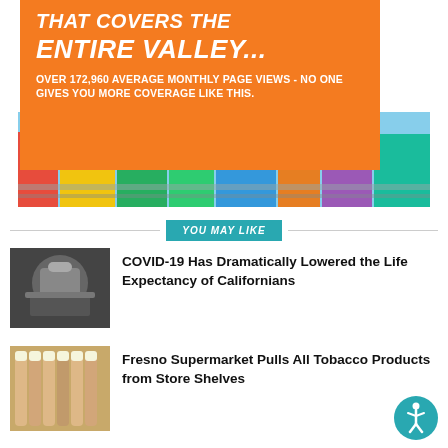THAT COVERS THE ENTIRE VALLEY...
OVER 172,960 AVERAGE MONTHLY PAGE VIEWS - NO ONE GIVES YOU MORE COVERAGE LIKE THIS.
[Figure (photo): Aerial view of colorful buildings in a city downtown area]
YOU MAY LIKE
[Figure (photo): Healthcare worker with PPE, COVID-19 related image]
COVID-19 Has Dramatically Lowered the Life Expectancy of Californians
[Figure (photo): Close-up of tobacco/cigarettes products]
Fresno Supermarket Pulls All Tobacco Products from Store Shelves